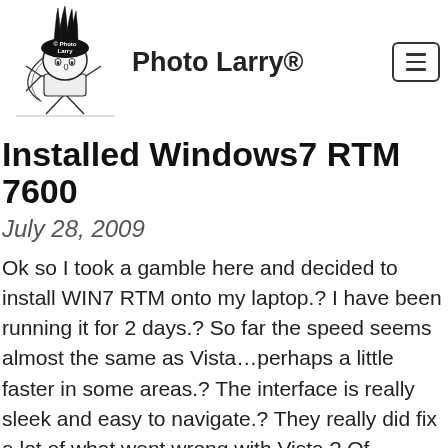[Figure (logo): Photo Larry logo: cartoon figure with mohawk hairstyle and text '© Photo Larry' inscribed]
Photo Larry®
Installed Windows7 RTM 7600
July 28, 2009
Ok so I took a gamble here and decided to install WIN7 RTM onto my laptop.? I have been running it for 2 days.? So far the speed seems almost the same as Vista…perhaps a little faster in some areas.? The interface is really sleek and easy to navigate.? They really did fix a lot of what went wrong with Vista.? Of course?my first attempt was an upgrade to Vista? which went terribly wrong, naturally.? So I did a restore…and